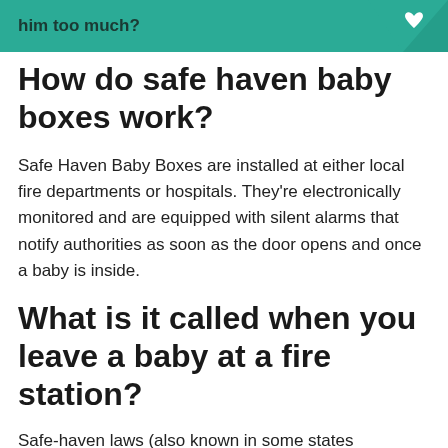him too much?
How do safe haven baby boxes work?
Safe Haven Baby Boxes are installed at either local fire departments or hospitals. They're electronically monitored and are equipped with silent alarms that notify authorities as soon as the door opens and once a baby is inside.
What is it called when you leave a baby at a fire station?
Safe-haven laws (also known in some states